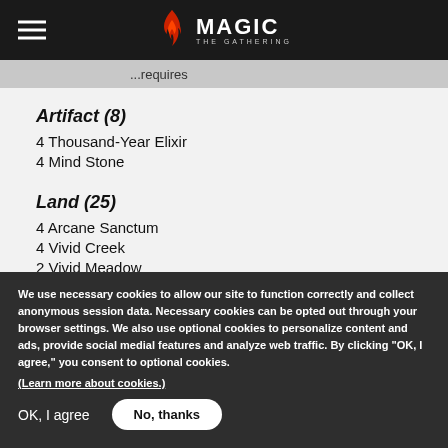Magic: The Gathering
...requires
Artifact (8)
4 Thousand-Year Elixir
4 Mind Stone
Land (25)
4 Arcane Sanctum
4 Vivid Creek
2 Vivid Meadow
1 Vivid Marsh
We use necessary cookies to allow our site to function correctly and collect anonymous session data. Necessary cookies can be opted out through your browser settings. We also use optional cookies to personalize content and ads, provide social medial features and analyze web traffic. By clicking “OK, I agree,” you consent to optional cookies.
(Learn more about cookies.)